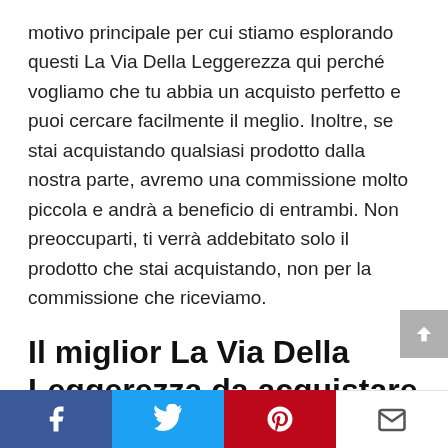motivo principale per cui stiamo esplorando questi La Via Della Leggerezza qui perché vogliamo che tu abbia un acquisto perfetto e puoi cercare facilmente il meglio. Inoltre, se stai acquistando qualsiasi prodotto dalla nostra parte, avremo una commissione molto piccola e andrà a beneficio di entrambi. Non preoccuparti, ti verrà addebitato solo il prodotto che stai acquistando, non per la commissione che riceviamo.
Il miglior La Via Della Leggerezza da acquistare nel 2022